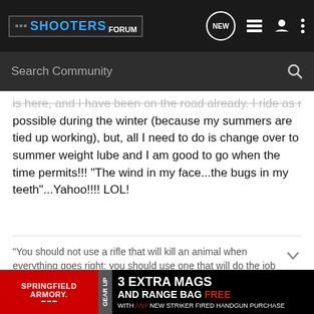SHOOTERS FORUM
Search Community
is here, and I have been on the road already. I ride as much as possible during the winter (because my summers are tied up working), but, all I need to do is change over to summer weight lube and I am good to go when the time permits!!! "The wind in my face...the bugs in my teeth"...Yahoo!!!! LOL!
"You should not use a rifle that will kill an animal when everything goes right; you should use one that will do the job when everything
wildhobbybobby · Banned
[Figure (screenshot): Springfield Armory advertisement: 3 Extra Mags and Range Bag Free with any new striker fired handgun purchase]